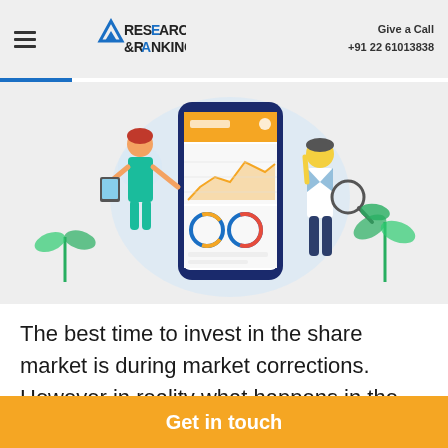Research & Ranking | Give a Call +91 22 61013838
[Figure (illustration): Illustration of a person presenting a large smartphone showing financial charts and graphs, with another person looking on, and decorative plant elements in the background]
The best time to invest in the share market is during market corrections. However in reality what happens in the market is just
Get in touch